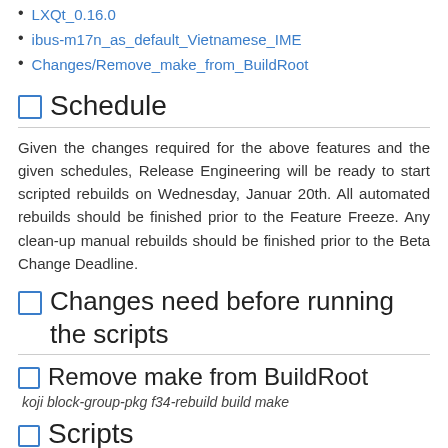LXQt_0.16.0
ibus-m17n_as_default_Vietnamese_IME
Changes/Remove_make_from_BuildRoot
Schedule
Given the changes required for the above features and the given schedules, Release Engineering will be ready to start scripted rebuilds on Wednesday, Januar 20th. All automated rebuilds should be finished prior to the Feature Freeze. Any clean-up manual rebuilds should be finished prior to the Beta Change Deadline.
Changes need before running the scripts
Remove make from BuildRoot
koji block-group-pkg f34-rebuild build make
Scripts